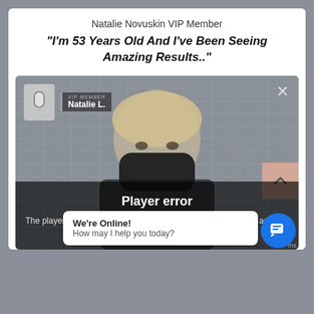Natalie Novuskin VIP Member
"I'm 53 Years Old And I've Been Seeing Amazing Results.."
[Figure (screenshot): Video player showing a woman wearing a black face mask in front of a brick wall, with a VIP Member badge overlay showing 'Natalie L.', a close X button, a player error message overlay reading 'Player error - The player is having trouble. We'll have it back up and running as soon as possible.', a scroll-up button, and a live chat bubble saying 'We're Online! How may I help you today?' with a blue chat icon.]